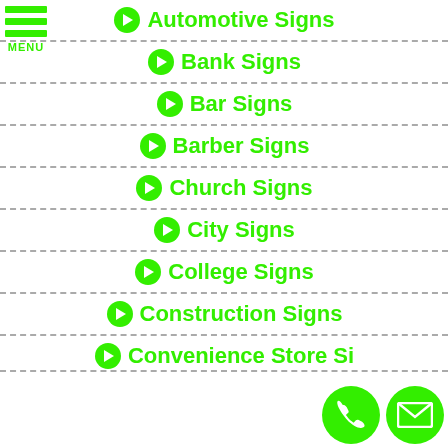[Figure (other): Hamburger menu icon with three green horizontal bars and MENU label]
Automotive Signs
Bank Signs
Bar Signs
Barber Signs
Church Signs
City Signs
College Signs
Construction Signs
Convenience Store Signs